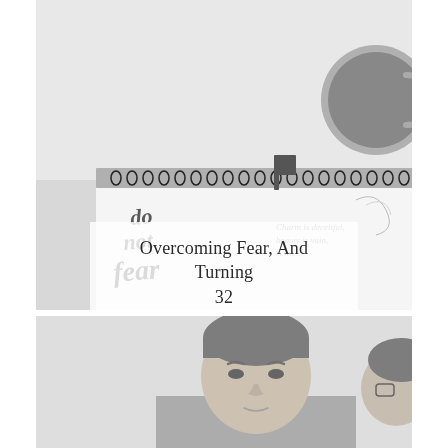[Figure (photo): Black and white photograph of a spiral-bound notebook with 'do not fear' handwritten on it in stylized lettering, alongside text 'Charm is deceitful, beauty is vain, A wo...' and a coffee mug in the upper right corner, shot from above on a light background.]
Overcoming Fear, And Turning 32
[Figure (photo): Black and white photograph of a young Asian man looking down with a focused or concerned expression, and partially visible face of another person to his right.]